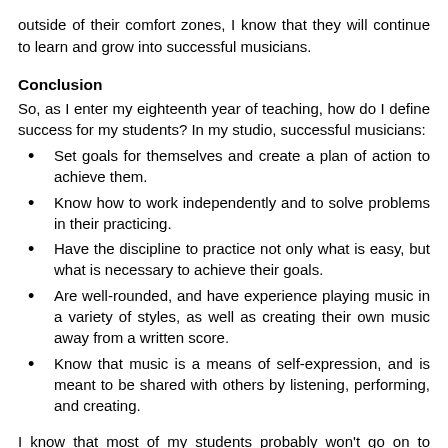outside of their comfort zones, I know that they will continue to learn and grow into successful musicians.
Conclusion
So, as I enter my eighteenth year of teaching, how do I define success for my students? In my studio, successful musicians:
Set goals for themselves and create a plan of action to achieve them.
Know how to work independently and to solve problems in their practicing.
Have the discipline to practice not only what is easy, but what is necessary to achieve their goals.
Are well-rounded, and have experience playing music in a variety of styles, as well as creating their own music away from a written score.
Know that music is a means of self-expression, and is meant to be shared with others by listening, performing, and creating.
I know that most of my students probably won't go on to pursue a